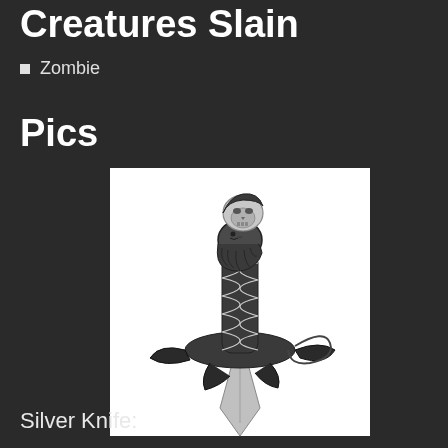Creatures Slain
Zombie
Pics
[Figure (illustration): An ornate silver dagger/knife with a sculpted bearded human face with skull on the pommel, intricate swirling patterns on the handle, and a stylized guard with decorative elements. The blade is silver with a pointed tip. The overall design is highly detailed and artistic.]
Silver Knife: